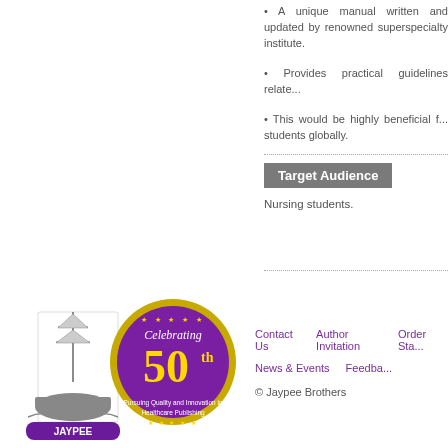• A unique manual written and updated by renowned superspecialty institute.
• Provides practical guidelines related to...
• This would be highly beneficial for students globally.
Target Audience
Nursing students.
[Figure (logo): Jaypee Brothers logo with ship illustration and JAYPEE text in purple banner, alongside 50th anniversary gold and purple celebrating badge]
Contact Us   Author Invitation   Order Status   News & Events   Feedback   © Jaypee Brothers